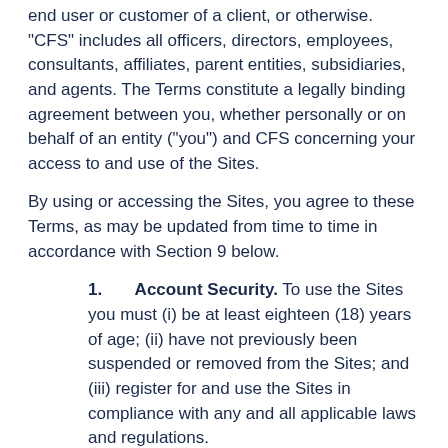end user or customer of a client, or otherwise. "CFS" includes all officers, directors, employees, consultants, affiliates, parent entities, subsidiaries, and agents. The Terms constitute a legally binding agreement between you, whether personally or on behalf of an entity ("you") and CFS concerning your access to and use of the Sites.
By using or accessing the Sites, you agree to these Terms, as may be updated from time to time in accordance with Section 9 below.
1. Account Security. To use the Sites you must (i) be at least eighteen (18) years of age; (ii) have not previously been suspended or removed from the Sites; and (iii) register for and use the Sites in compliance with any and all applicable laws and regulations.
2. Account Registration. To access some features of the Sites, you may be required to register for an account. When you register for an account, we may ask you to give us certain identifying information about yourself, including but not limited to your email address and other contact